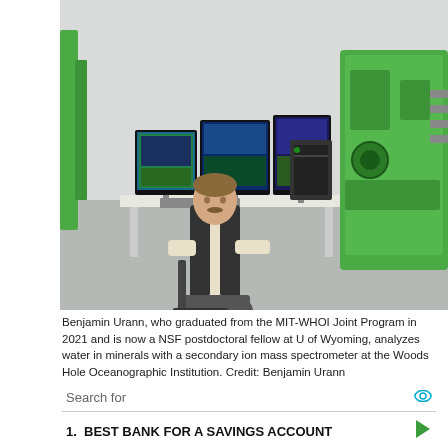[Figure (photo): Benjamin Urann sitting at a workstation with multiple monitors displaying scientific data. Large laboratory equipment including a green secondary ion mass spectrometer is visible in the background. The lab appears to be a scientific analysis facility.]
Benjamin Urann, who graduated from the MIT-WHOI Joint Program in 2021 and is now a NSF postdoctoral fellow at U of Wyoming, analyzes water in minerals with a secondary ion mass spectrometer at the Woods Hole Oceanographic Institution. Credit: Benjamin Urann
Search for
1.  BEST BANK FOR A SAVINGS ACCOUNT
2.  WAYS TO WHITEN YOUR TEETH
Ad | Business Focus